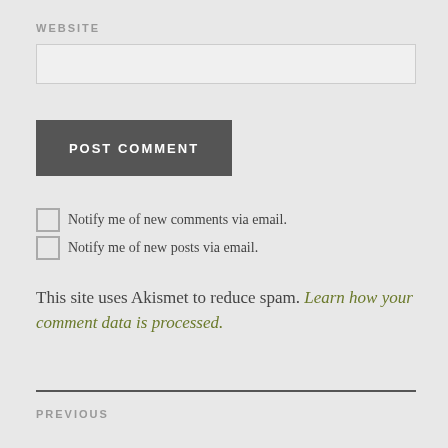WEBSITE
POST COMMENT
Notify me of new comments via email.
Notify me of new posts via email.
This site uses Akismet to reduce spam. Learn how your comment data is processed.
PREVIOUS